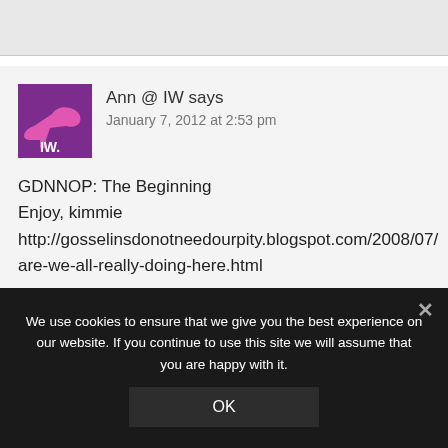[Figure (other): Gray top bar / header area]
Ann @ IW says
January 7, 2012 at 2:53 pm
GDNNOP: The Beginning
Enjoy, kimmie
http://gosselinsdonotneedourpity.blogspot.com/2008/07/are-we-all-really-doing-here.html
We use cookies to ensure that we give you the best experience on our website. If you continue to use this site we will assume that you are happy with it.